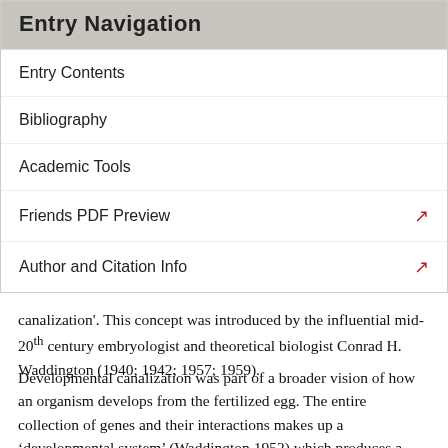Entry Navigation
Entry Contents
Bibliography
Academic Tools
Friends PDF Preview
Author and Citation Info
canalization'. This concept was introduced by the influential mid-20th century embryologist and theoretical biologist Conrad H. Waddington (1940; 1942; 1957; 1959).
Developmental canalization was part of a broader vision of how an organism develops from the fertilized egg. The entire collection of genes and their interactions makes up a ‘developmental system’ (Waddington 1952) which produces a phenotype. Many features of the phenotype are explained by the dynamical properties of that developmental system as a whole, rather than by the